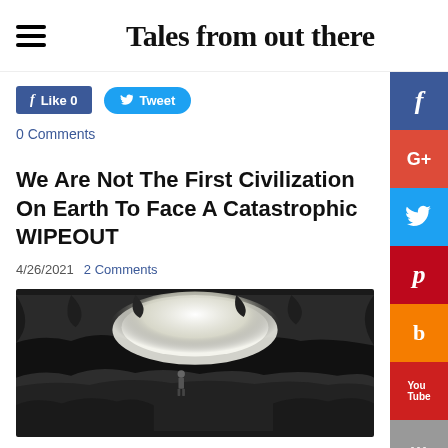Tales from out there
Like 0   Tweet
0 Comments
We Are Not The First Civilization On Earth To Face A Catastrophic WIPEOUT
4/26/2021  2 Comments
[Figure (photo): Black and white photo of the entrance of a cave with a small figure/person visible inside, dramatic lighting showing cave opening against dark interior]